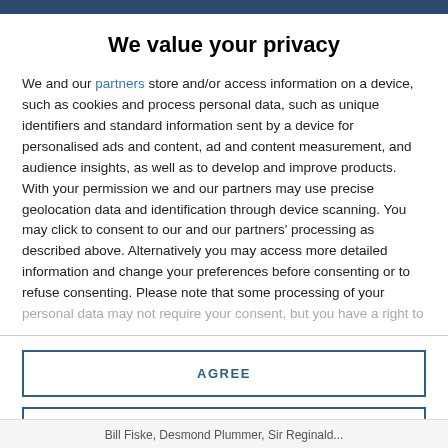We value your privacy
We and our partners store and/or access information on a device, such as cookies and process personal data, such as unique identifiers and standard information sent by a device for personalised ads and content, ad and content measurement, and audience insights, as well as to develop and improve products. With your permission we and our partners may use precise geolocation data and identification through device scanning. You may click to consent to our and our partners' processing as described above. Alternatively you may access more detailed information and change your preferences before consenting or to refuse consenting. Please note that some processing of your personal data may not require your consent, but you have a right to
AGREE
MORE OPTIONS
Bill Fiske, Desmond Plummer, Sir Reginald...